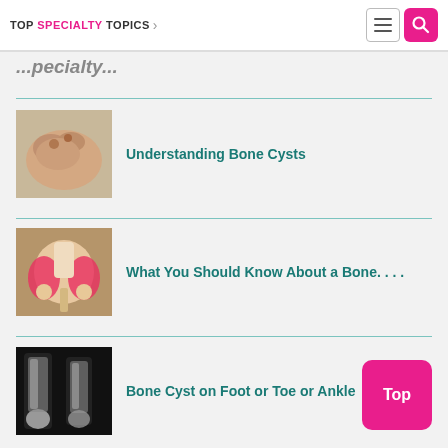TOP SPECIALTY TOPICS
...specialty...
Understanding Bone Cysts
What You Should Know About a Bone....
Bone Cyst on Foot or Toe or Ankle